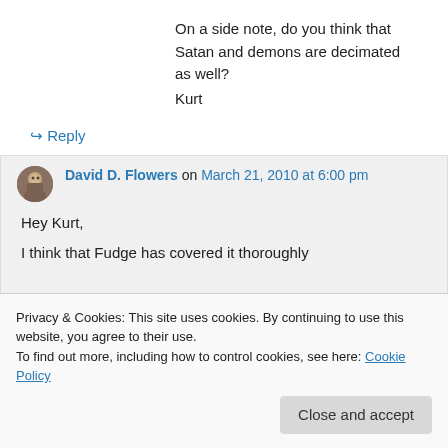On a side note, do you think that Satan and demons are decimated as well?
Kurt
↪ Reply
David D. Flowers on March 21, 2010 at 6:00 pm
Hey Kurt,
I think that Fudge has covered it thoroughly
etymological meaning of the word, but how
Privacy & Cookies: This site uses cookies. By continuing to use this website, you agree to their use.
To find out more, including how to control cookies, see here: Cookie Policy
Close and accept